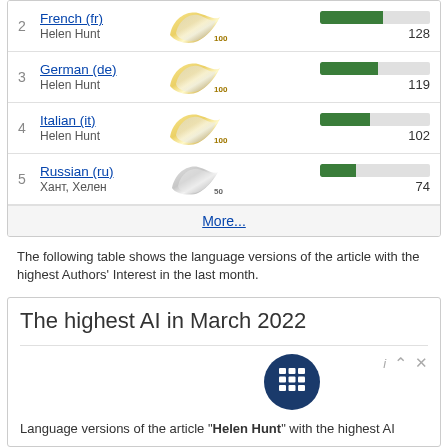| # | Language | Badge | Bar | Count |
| --- | --- | --- | --- | --- |
| 2 | French (fr) / Helen Hunt | 100 | 128/max | 128 |
| 3 | German (de) / Helen Hunt | 100 | 119/max | 119 |
| 4 | Italian (it) / Helen Hunt | 100 | 102/max | 102 |
| 5 | Russian (ru) / Хант, Хелен | 50 | 74/max | 74 |
More...
The following table shows the language versions of the article with the highest Authors' Interest in the last month.
The highest AI in March 2022
[Figure (illustration): Dark blue circle icon with white calculator/grid symbol]
Language versions of the article "Helen Hunt" with the highest AI